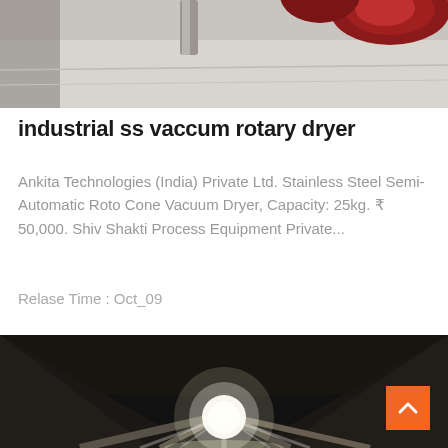[Figure (photo): Top portion of an industrial vacuum rotary dryer — partial view showing red/metallic components on a light background.]
industrial ss vaccum rotary dryer
Ankita Technologies (India) Private Ltd. Stainless Steel Semi-Automatic Roto Cone Vacuum Dryer, Capacity: 25kg. ₹ 50,000. Shiv Shakti Process Equipment Private...
Relase Time : Oct_09
[Figure (photo): Interior dark view inside an industrial rotary dryer drum, looking toward a bright light source at the far end with internal blades/fins visible.]